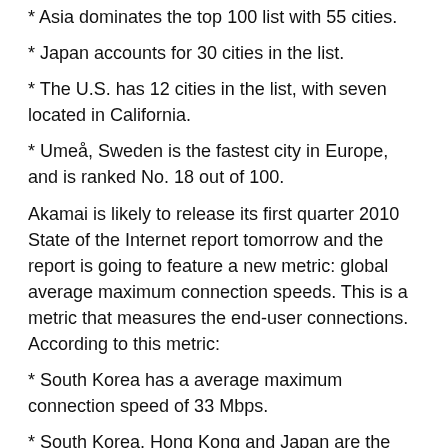* Asia dominates the top 100 list with 55 cities.
* Japan accounts for 30 cities in the list.
* The U.S. has 12 cities in the list, with seven located in California.
* Umeå, Sweden is the fastest city in Europe, and is ranked No. 18 out of 100.
Akamai is likely to release its first quarter 2010 State of the Internet report tomorrow and the report is going to feature a new metric: global average maximum connection speeds. This is a metric that measures the end-user connections. According to this metric:
* South Korea has a average maximum connection speed of 33 Mbps.
* South Korea, Hong Kong and Japan are the top three